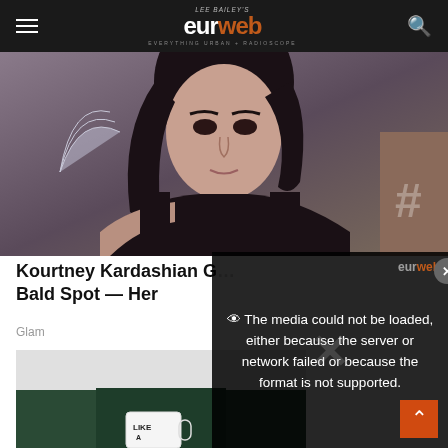LEE BAILEY'S eurweb — EVERYTHING URBAN + RADIOSCOPE
[Figure (photo): Kourtney Kardashian at an event, wearing black dress, long dark hair, with another person visible in background]
Kourtney Kardashian Gets Bald Spot — Her
Glam
[Figure (screenshot): Video player error overlay showing 'The media could not be loaded, either because the server or network failed or because the format is not supported.' with eurweb logo watermark and close button]
[Figure (photo): Person wearing dark green sweater holding a white mug with 'LIKE A' text visible]